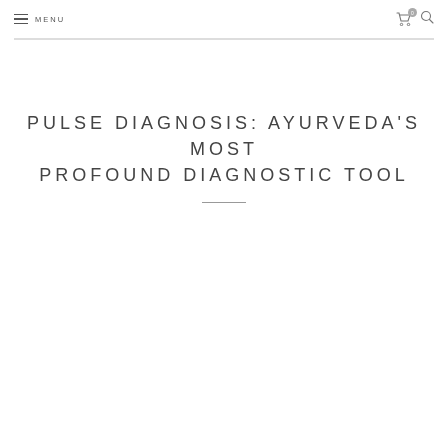MENU
PULSE DIAGNOSIS: AYURVEDA'S MOST PROFOUND DIAGNOSTIC TOOL